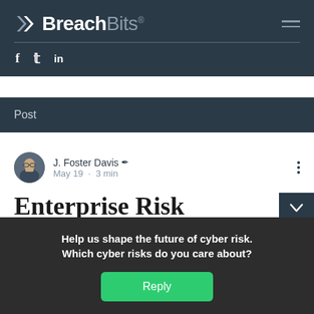BreachBits
Post
J. Foster Davis · May 19 · 3 min
Enterprise Risk
Help us shape the future of cyber risk. Which cyber risks do you care about?
Reply